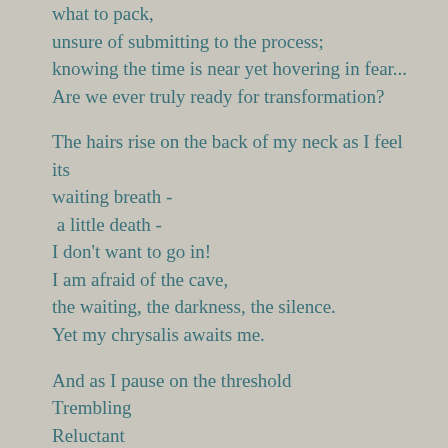what to pack,
unsure of submitting to the process;
knowing the time is near yet hovering in fear...
Are we ever truly ready for transformation?

The hairs rise on the back of my neck as I feel its waiting breath -
 a little death -
I don't want to go in!
I am afraid of the cave,
the waiting, the darkness, the silence.
Yet my chrysalis awaits me.

And as I pause on the threshold
Trembling
Reluctant
The whisper speaks:
"Be at peace,